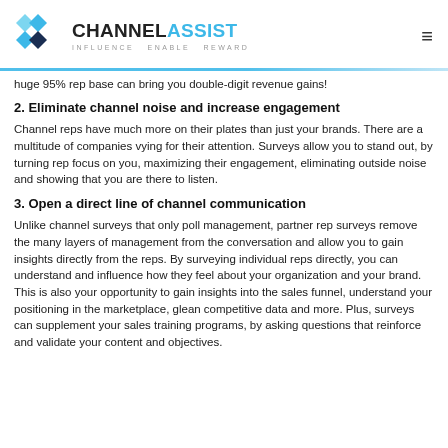CHANNEL ASSIST — INFLUENCE ENABLE REWARD
huge 95% rep base can bring you double-digit revenue gains!
2. Eliminate channel noise and increase engagement
Channel reps have much more on their plates than just your brands. There are a multitude of companies vying for their attention. Surveys allow you to stand out, by turning rep focus on you, maximizing their engagement, eliminating outside noise and showing that you are there to listen.
3. Open a direct line of channel communication
Unlike channel surveys that only poll management, partner rep surveys remove the many layers of management from the conversation and allow you to gain insights directly from the reps. By surveying individual reps directly, you can understand and influence how they feel about your organization and your brand. This is also your opportunity to gain insights into the sales funnel, understand your positioning in the marketplace, glean competitive data and more. Plus, surveys can supplement your sales training programs, by asking questions that reinforce and validate your content and objectives.